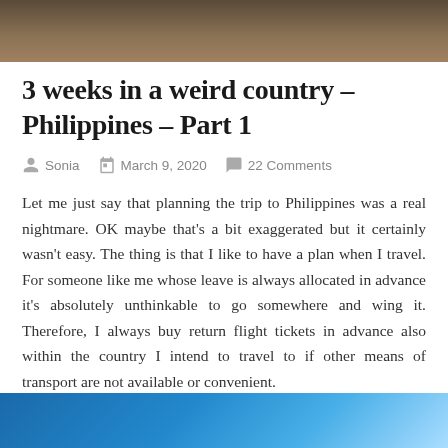[Figure (photo): Top portion of a banner image, dark brown/tan colored background, cropped at top of page]
3 weeks in a weird country – Philippines – Part 1
Sonia   March 9, 2020   22 Comments
Let me just say that planning the trip to Philippines was a real nightmare. OK maybe that's a bit exaggerated but it certainly wasn't easy. The thing is that I like to have a plan when I travel. For someone like me whose leave is always allocated in advance it's absolutely unthinkable to go somewhere and wing it. Therefore, I always buy return flight tickets in advance also within the country I intend to travel to if other means of transport are not available or convenient.
[Figure (photo): Bottom portion of an image showing blue colors, possibly sky or water with diagonal lines]